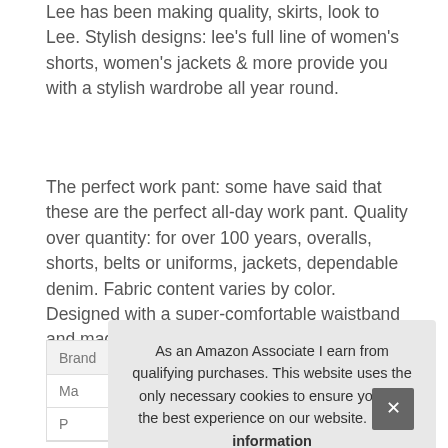Lee has been making quality skirts, look to Lee. Stylish designs: lee's full line of women's shorts, women's jackets & more provide you with a stylish wardrobe all year round.
The perfect work pant: some have said that these are the perfect all-day work pant. Quality over quantity: for over 100 years, overalls, shorts, belts or uniforms, jackets, dependable denim. Fabric content varies by color. Designed with a super-comfortable waistband and made from silky-soft fabric with a slight drape, our Relaxed Fit Straight Leg Pant is all dressed up and ready to go.
|  |  |
| --- | --- |
| Brand | Lee #ad |
| Ma |  |
| P |  |
As an Amazon Associate I earn from qualifying purchases. This website uses the only necessary cookies to ensure you get the best experience on our website. More information